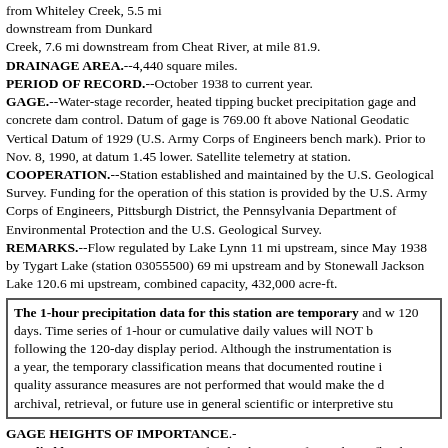from Whiteley Creek, 5.5 mi downstream from Dunkard Creek, 7.6 mi downstream from Cheat River, at mile 81.9.
DRAINAGE AREA.--4,440 square miles.
PERIOD OF RECORD.--October 1938 to current year.
GAGE.--Water-stage recorder, heated tipping bucket precipitation gage and concrete dam control. Datum of gage is 769.00 ft above National Geodatic Vertical Datum of 1929 (U.S. Army Corps of Engineers bench mark). Prior to Nov. 8, 1990, at datum 1.45 lower. Satellite telemetry at station.
COOPERATION.--Station established and maintained by the U.S. Geological Survey. Funding for the operation of this station is provided by the U.S. Army Corps of Engineers, Pittsburgh District, the Pennsylvania Department of Environmental Protection and the U.S. Geological Survey.
REMARKS.--Flow regulated by Lake Lynn 11 mi upstream, since May 1938 by Tygart Lake (station 03055500) 69 mi upstream and by Stonewall Jackson Lake 120.6 mi upstream, combined capacity, 432,000 acre-ft.
The 1-hour precipitation data for this station are temporary and will be displayed for only 120 days. Time series of 1-hour or cumulative daily values will NOT be available following the 120-day display period. Although the instrumentation is checked about once a year, the temporary classification means that documented routine inspections and quality assurance measures are not performed that would make the data suitable for archival, retrieval, or future use in general scientific or interpretive studies.
GAGE HEIGHTS OF IMPORTANCE.-
Supplied by NWS: Action stage-15 ft; Flood stage-21 ft; Moderate flood stage-25 ft; Major flood stage-27 ft.